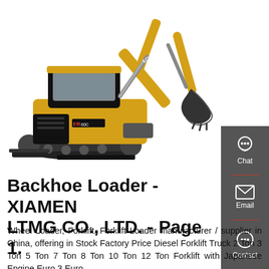[Figure (photo): Yellow LOVOL mini excavator/backhoe loader on white background, showing tracked undercarriage, cab, boom arm and bucket]
Backhoe Loader - XIAMEN LTMG CO., LTD. - Page 1.
Wheel Loader, Forklift, Forklift Loader manufacturer / supplier in China, offering in Stock Factory Price Diesel Forklift Truck 2 Ton 3 Ton 5 Ton 7 Ton 8 Ton 10 Ton 12 Ton Forklift with Japanese Engine Euro 3 Euro